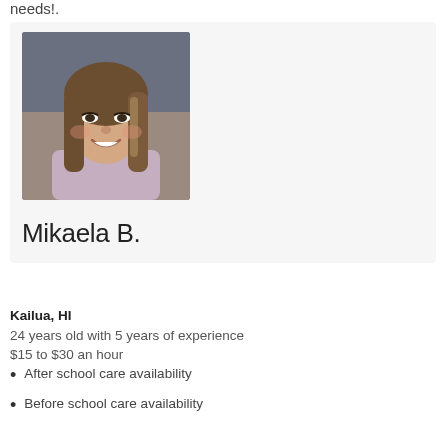needs!.
[Figure (photo): Profile photo of Mikaela B., a young woman with long brown hair smiling at the camera]
Mikaela B.
Kailua, HI
24 years old with 5 years of experience
$15 to $30 an hour
After school care availability
Before school care availability